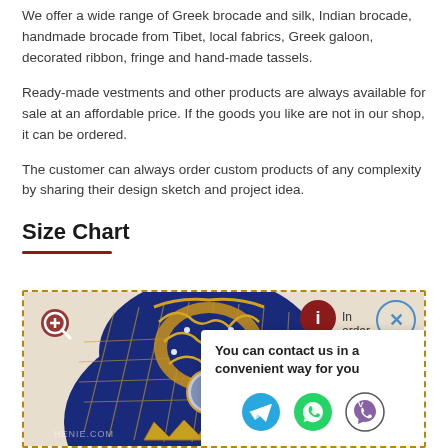We offer a wide range of Greek brocade and silk, Indian brocade, handmade brocade from Tibet, local fabrics, Greek galoon, decorated ribbon, fringe and hand-made tassels.
Ready-made vestments and other products are always available for sale at an affordable price. If the goods you like are not in our shop, it can be ordered.
The customer can always order custom products of any complexity by sharing their design sketch and project idea.
Size Chart
[Figure (photo): Photo of an ornate Orthodox bishop's mitre (crown) decorated with blue velvet, gold embroidery, gems and an icon medallion. Shown inside a dashed border box. Overlaid with a zoom magnifier icon, an info button with 'In order' text, a close button, and a contact popup saying 'You can contact us in a convenient way for you' with Telegram, WhatsApp, and Viber icons.]